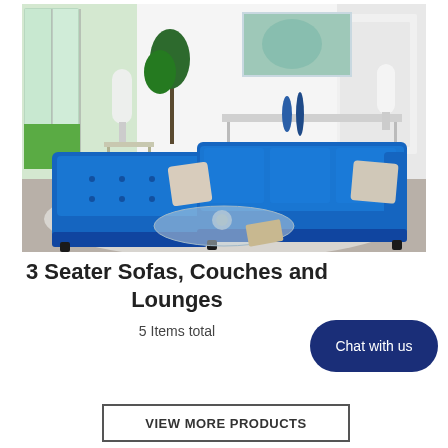[Figure (photo): A blue sectional sofa in a modern living room with white walls, large windows, a white fluffy rug, a glass coffee table, and decorative items on a white console table in the background.]
3 Seater Sofas, Couches and Lounges
5 Items total
Chat with us
VIEW MORE PRODUCTS